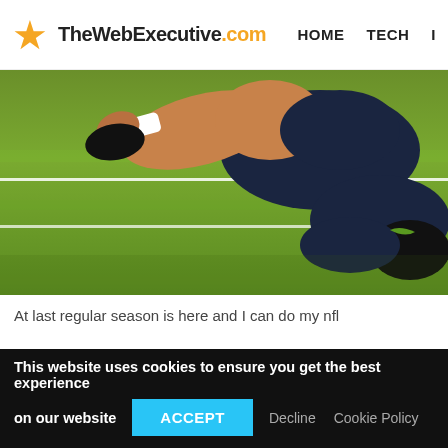TheWebExecutive.com  HOME  TECH  I
[Figure (photo): Close-up photo of an NFL player in dark blue Seahawks uniform on a green football field, crouched down near the turf with white yard line visible]
At last regular season is here and I can do my nfl
This website uses cookies to ensure you get the best experience on our website  ACCEPT  Decline  Cookie Policy